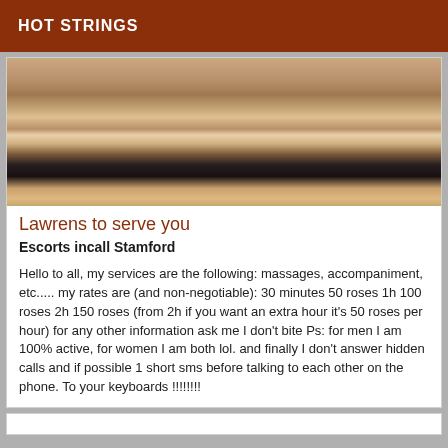HOT STRINGS
[Figure (photo): Photo of a person on a tiled floor, cropped view showing torso and limbs, wearing dark shorts]
Lawrens to serve you
Escorts incall Stamford
Hello to all, my services are the following: massages, accompaniment, etc..... my rates are (and non-negotiable): 30 minutes 50 roses 1h 100 roses 2h 150 roses (from 2h if you want an extra hour it's 50 roses per hour) for any other information ask me I don't bite Ps: for men I am 100% active, for women I am both lol. and finally I don't answer hidden calls and if possible 1 short sms before talking to each other on the phone. To your keyboards !!!!!!!!